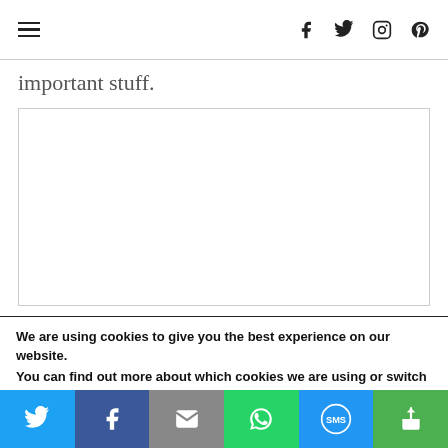Navigation and social icons header
important stuff.
[Figure (other): Empty white bordered rectangle placeholder image area]
We are using cookies to give you the best experience on our website.
You can find out more about which cookies we are using or switch them off in settings.
Share bar with Twitter, Facebook, Email, WhatsApp, SMS, and other sharing buttons